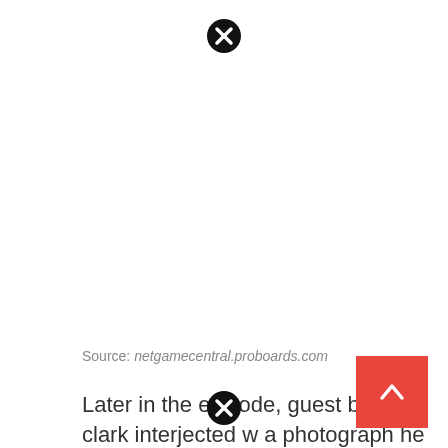[Figure (other): Black circle close/dismiss button icon at top center of page]
Source: netgamecentral.proboards.com
Later in the episode, guest blake clark interjected w a photograph he brought along himself. The super
[Figure (other): Black circle close/dismiss button icon at bottom center of page]
[Figure (other): Red scroll-to-top button with upward chevron arrow at bottom right]